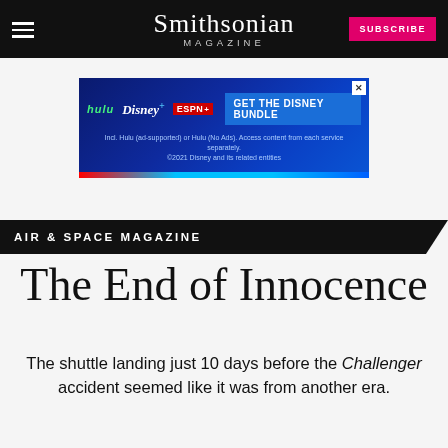Smithsonian Magazine — SUBSCRIBE
[Figure (other): Disney Bundle advertisement banner showing hulu, Disney+, ESPN+ logos with 'GET THE DISNEY BUNDLE' call to action]
AIR & SPACE MAGAZINE
The End of Innocence
The shuttle landing just 10 days before the Challenger accident seemed like it was from another era.